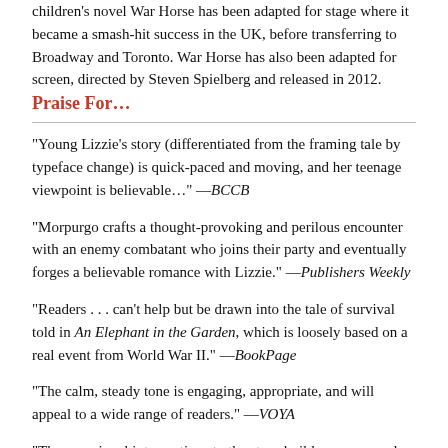children's novel War Horse has been adapted for stage where it became a smash-hit success in the UK, before transferring to Broadway and Toronto. War Horse has also been adapted for screen, directed by Steven Spielberg and released in 2012.
Praise For...
"Young Lizzie's story (differentiated from the framing tale by typeface change) is quick-paced and moving, and her teenage viewpoint is believable..." —BCCB
"Morpurgo crafts a thought-provoking and perilous encounter with an enemy combatant who joins their party and eventually forges a believable romance with Lizzie." —Publishers Weekly
"Readers . . . can't help but be drawn into the tale of survival told in An Elephant in the Garden, which is loosely based on a real event from World War II." —BookPage
"The calm, steady tone is engaging, appropriate, and will appeal to a wide range of readers." —VOYA
"The occasional interruptions to the story build suspense and